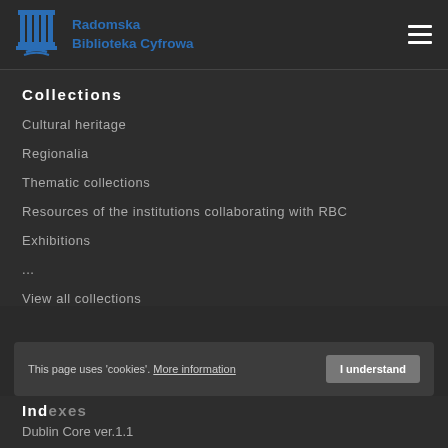Radomska Biblioteka Cyfrowa
Collections
Cultural heritage
Regionalia
Thematic collections
Resources of the institutions collaborating with RBC
Exhibitions
...
View all collections
This page uses 'cookies'. More information  I understand
Indexes
Dublin Core ver.1.1